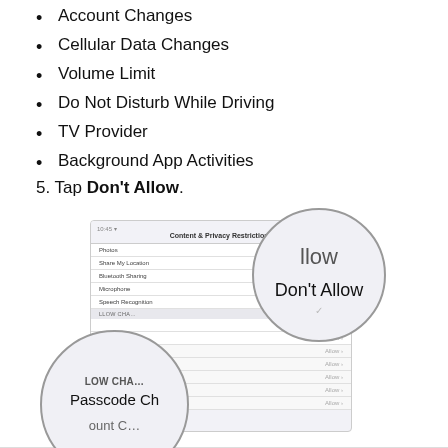Account Changes
Cellular Data Changes
Volume Limit
Do Not Disturb While Driving
TV Provider
Background App Activities
5. Tap Don't Allow.
[Figure (screenshot): iPhone screenshot of Content & Privacy Restrictions settings showing options like Share My Location, Bluetooth Sharing, Microphone, Speech Recognition, with magnified circles highlighting 'Don't Allow' and 'Passcode Ch' (Passcode Changes) options.]